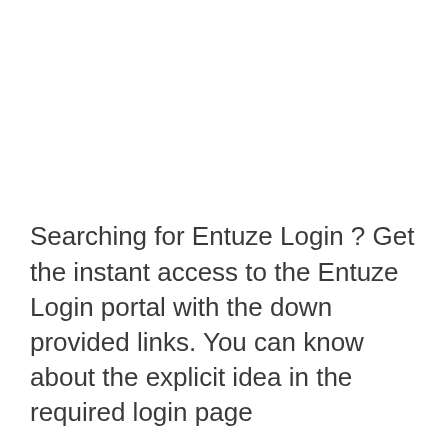Searching for Entuze Login ? Get the instant access to the Entuze Login portal with the down provided links. You can know about the explicit idea in the required login page